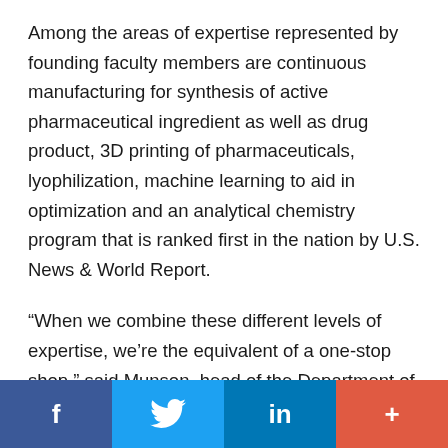Among the areas of expertise represented by founding faculty members are continuous manufacturing for synthesis of active pharmaceutical ingredient as well as drug product, 3D printing of pharmaceuticals, lyophilization, machine learning to aid in optimization and an analytical chemistry program that is ranked first in the nation by U.S. News & World Report.
“When we combine these different levels of expertise, we’re the equivalent of a one-stop shop,” said Munson, head of the Department of Industrial and Physical Pharmacy in the College of Pharmacy. “When a pharmaceutical company needs help with
f  [twitter bird]  in  +